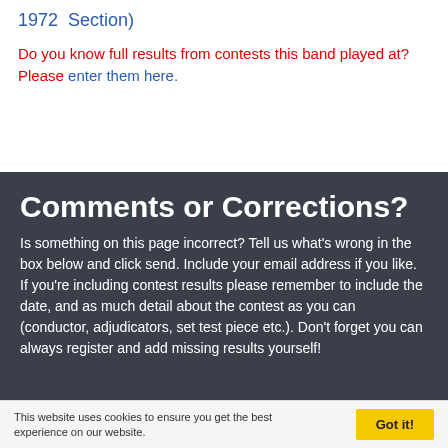1972  Section)
Do you know full results from contests this band played at? Please enter them here.
Comments or Corrections?
Is something on this page incorrect? Tell us what's wrong in the box below and click send. Include your email address if you like. If you're including contest results please remember to include the date, and as much detail about the contest as you can (conductor, adjudicators, set test piece etc.). Don't forget you can always register and add missing results yourself!
This website uses cookies to ensure you get the best experience on our website.